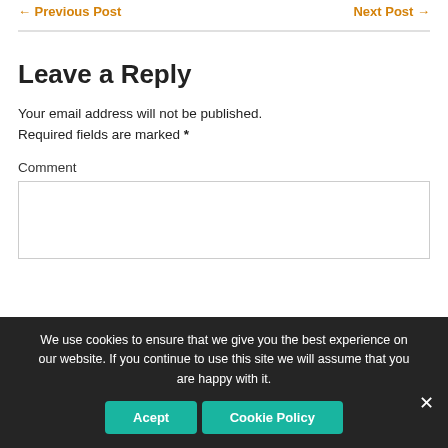← Previous Post    Next Post →
Leave a Reply
Your email address will not be published. Required fields are marked *
Comment
We use cookies to ensure that we give you the best experience on our website. If you continue to use this site we will assume that you are happy with it.
Acept   Cookie Policy